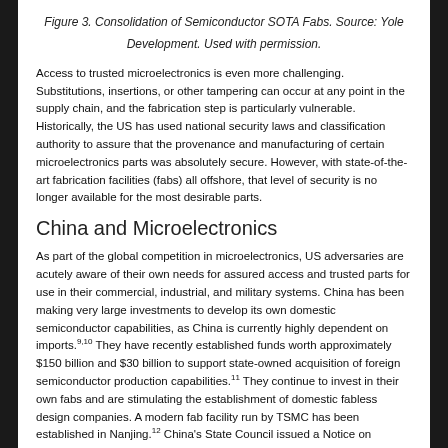Figure 3. Consolidation of Semiconductor SOTA Fabs. Source: Yole Development. Used with permission.
Access to trusted microelectronics is even more challenging. Substitutions, insertions, or other tampering can occur at any point in the supply chain, and the fabrication step is particularly vulnerable. Historically, the US has used national security laws and classification authority to assure that the provenance and manufacturing of certain microelectronics parts was absolutely secure. However, with state-of-the-art fabrication facilities (fabs) all offshore, that level of security is no longer available for the most desirable parts.
China and Microelectronics
As part of the global competition in microelectronics, US adversaries are acutely aware of their own needs for assured access and trusted parts for use in their commercial, industrial, and military systems. China has been making very large investments to develop its own domestic semiconductor capabilities, as China is currently highly dependent on imports.9,10 They have recently established funds worth approximately $150 billion and $30 billion to support state-owned acquisition of foreign semiconductor production capabilities.11 They continue to invest in their own fabs and are stimulating the establishment of domestic fabless design companies. A modern fab facility run by TSMC has been established in Nanjing.12 China's State Council issued a Notice on Several Policies to Promote the High-quality Development of